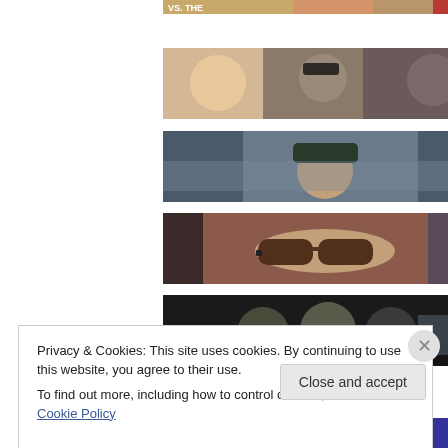[Figure (photo): Partial top image showing 'VS. THE' text and a person, cropped at top of page]
[Figure (photo): Group photo of three young people: a blonde woman on left, a person with glasses in middle, and another person on right]
[Figure (photo): Person wearing a cap against a blurred background]
[Figure (photo): Close-up of a person wearing large brown-rimmed glasses with hair visible]
[Figure (photo): Dark photo of three people making faces at the camera]
Privacy & Cookies: This site uses cookies. By continuing to use this website, you agree to their use.
To find out more, including how to control cookies, see here: Cookie Policy
[Figure (photo): Colorful bottom banner strip]